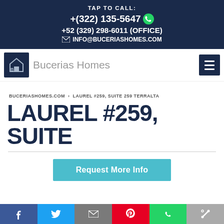TAP TO CALL:
+(322) 135-5647
+52 (329) 298-6011 (OFFICE)
INFO@BUCERIASHOMES.COM
[Figure (logo): Bucerias Homes logo with BH house icon and site name]
BUCERIASHOMES.COM › LAUREL #259, SUITE 259 TERRALTA
LAUREL #259, SUITE
Request More Info
Social share bar: Facebook, Twitter, Email, Pinterest, WhatsApp, Link